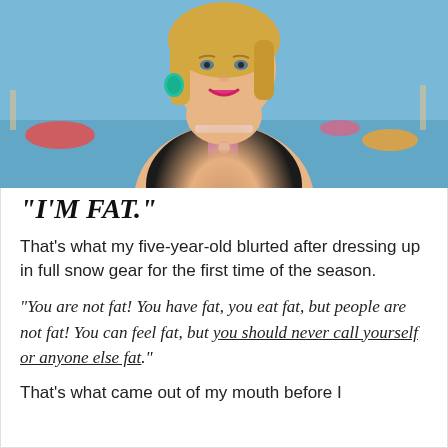[Figure (photo): A plus-size woman with blonde hair wearing a black swimsuit with purple accents and teal earrings, smiling at a pool party with floats in the background.]
"I'M FAT."
That's what my five-year-old blurted after dressing up in full snow gear for the first time of the season.
"You are not fat! You have fat, you eat fat, but people are not fat! You can feel fat, but you should never call yourself or anyone else fat."
That's what came out of my mouth before I